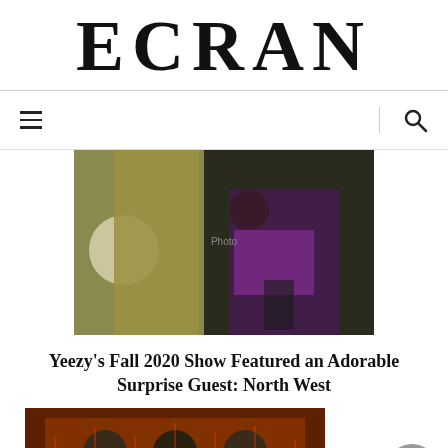ECRAN
[Figure (photo): Navigation bar with hamburger menu icon on the left and search icon on the right, separated by a vertical line]
[Figure (photo): Photo of a child (North West) singing into a microphone at Yeezy Fall 2020 show, with a person in an olive/yellow jacket beside her]
Yeezy’s Fall 2020 Show Featured an Adorable Surprise Guest: North West
[Figure (photo): Partial photo at bottom showing people with orange/red background and string lights at a fashion show venue]